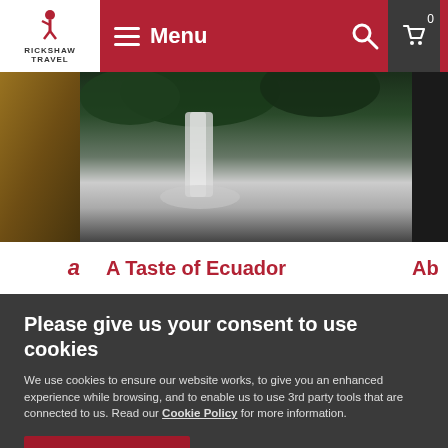Rickshaw Travel — Menu navigation bar
[Figure (photo): Website screenshot showing a travel website header with Rickshaw Travel logo, hamburger menu, search icon, cart icon, a waterfall photo strip, and 'A Taste of Ecuador' title]
Please give us your consent to use cookies
We use cookies to ensure our website works, to give you an enhanced experience while browsing, and to enable us to use 3rd party tools that are connected to us. Read our Cookie Policy for more information.
Yes, I agree